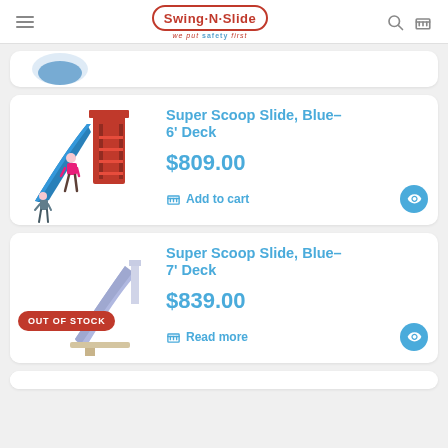Swing-N-Slide — we put safety first
[Figure (screenshot): Partial product card showing top of a blue product image]
Super Scoop Slide, Blue-6' Deck
$809.00
Add to cart
Super Scoop Slide, Blue-7' Deck
$839.00
Read more
OUT OF STOCK